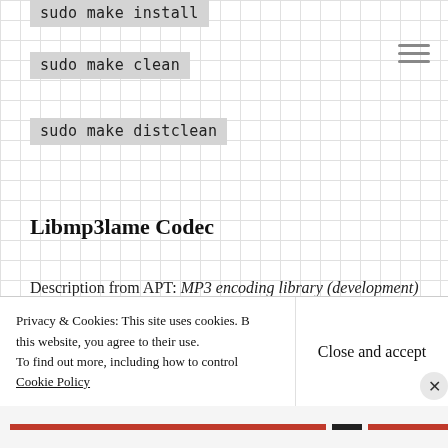sudo make install
sudo make clean
sudo make distclean
Libmp3lame Codec
Description from APT: MP3 encoding library (development)
LAME (LAME Ain't an MP3 Encoder) is a research project for learning about and improving
Apt-Get Install: Target Directories
The current working
Privacy & Cookies: This site uses cookies. By continuing to use this website, you agree to their use.
To find out more, including how to control cookies, see here:
Cookie Policy
Close and accept